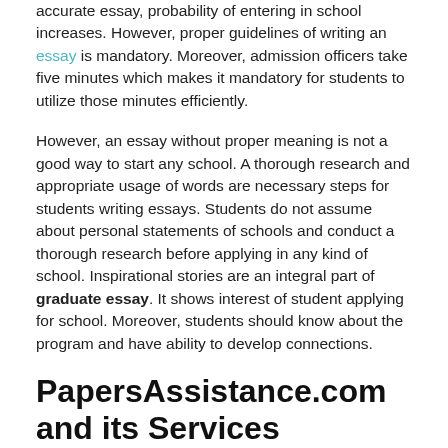accurate essay, probability of entering in school increases. However, proper guidelines of writing an essay is mandatory. Moreover, admission officers take five minutes which makes it mandatory for students to utilize those minutes efficiently.
However, an essay without proper meaning is not a good way to start any school. A thorough research and appropriate usage of words are necessary steps for students writing essays. Students do not assume about personal statements of schools and conduct a thorough research before applying in any kind of school. Inspirational stories are an integral part of graduate essay. It shows interest of student applying for school. Moreover, students should know about the program and have ability to develop connections.
PapersAssistance.com and its Services
Papers Assistance can help you with all types of assignments. The company has a team of professional writers who can work